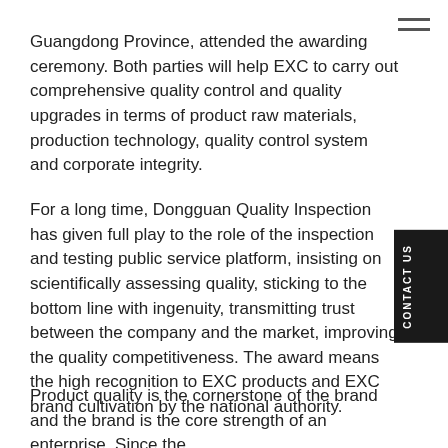Guangdong Province, attended the awarding ceremony. Both parties will help EXC to carry out comprehensive quality control and quality upgrades in terms of product raw materials, production technology, quality control system and corporate integrity.
For a long time, Dongguan Quality Inspection has given full play to the role of the inspection and testing public service platform, insisting on scientifically assessing quality, sticking to the bottom line with ingenuity, transmitting trust between the company and the market, improving the quality competitiveness. The award means the high recognition to EXC products and EXC brand cultivation by the national authority.
Product quality is the cornerstone of the brand and the brand is the core strength of an enterprise. Since the